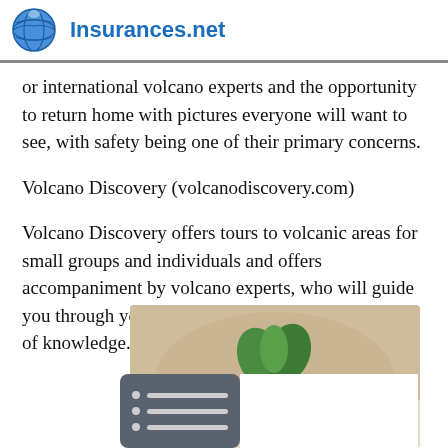Insurances.net
or international volcano experts and the opportunity to return home with pictures everyone will want to see, with safety being one of their primary concerns.
Volcano Discovery (volcanodiscovery.com)
Volcano Discovery offers tours to volcanic areas for small groups and individuals and offers accompaniment by volcano experts, who will guide you through your experience and share their wealth of knowledge.
[Figure (photo): Photo of a plant with green mint leaves on a bowl, partially visible, with a dark overlay UI element showing a list icon in the bottom-left corner.]